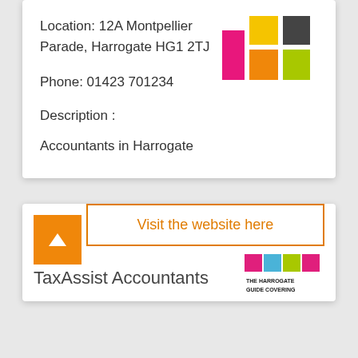Location: 12A Montpellier Parade, Harrogate HG1 2TJ
[Figure (logo): Colorful geometric logo with pink, yellow/orange, lime green, and dark grey blocks arranged in an L-shape pattern]
Phone: 01423 701234
Description :
Accountants in Harrogate
Visit the website here
TaxAssist Accountants
[Figure (logo): The Harrogate Guide covering logo with colored blocks]